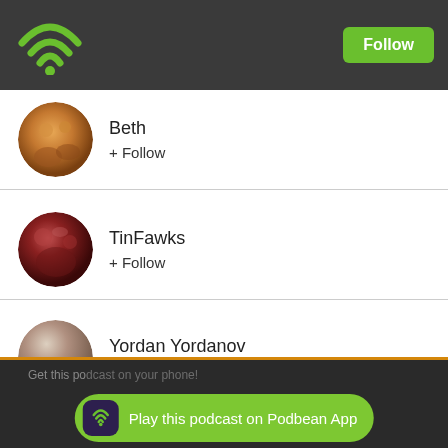Follow
Beth
+ Follow
TinFawks
+ Follow
Yordan Yordanov
+ Follow
More...
Get this podcast on your phone!
Play this podcast on Podbean App